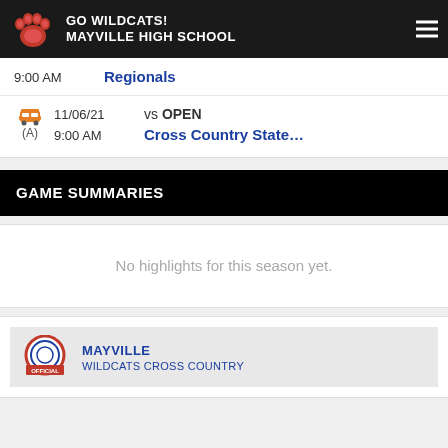GO WILDCATS! MAYVILLE HIGH SCHOOL
9:00 AM   Regionals
11/06/21  vs OPEN  (A)  9:00 AM  Cross Country State...
GAME SUMMARIES
No highlights for this season yet.
MAYVILLE WILDCATS CROSS COUNTRY